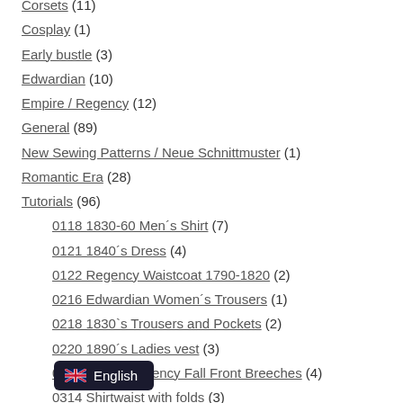Corsets (11)
Cosplay (1)
Early bustle (3)
Edwardian (10)
Empire / Regency (12)
General (89)
New Sewing Patterns / Neue Schnittmuster (1)
Romantic Era (28)
Tutorials (96)
0118 1830-60 Men´s Shirt (7)
0121 1840´s Dress (4)
0122 Regency Waistcoat 1790-1820 (2)
0216 Edwardian Women´s Trousers (1)
0218 1830`s Trousers and Pockets (2)
0220 1890´s Ladies vest (3)
0222 Men´s Regency Fall Front Breeches (4)
0314 Shirtwaist with folds (3)
0319 Empire Spencer and Redingote (3)
0... odice (3)